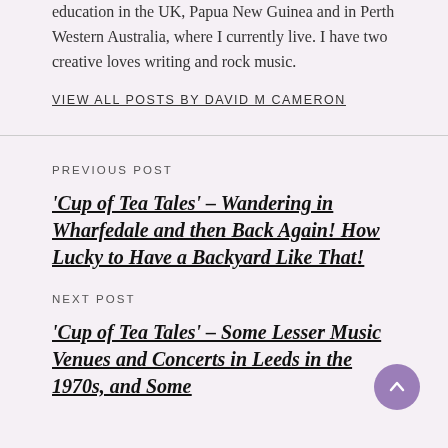education in the UK, Papua New Guinea and in Perth Western Australia, where I currently live. I have two creative loves writing and rock music.
VIEW ALL POSTS BY DAVID M CAMERON
PREVIOUS POST
'Cup of Tea Tales' – Wandering in Wharfedale and then Back Again! How Lucky to Have a Backyard Like That!
NEXT POST
'Cup of Tea Tales' – Some Lesser Music Venues and Concerts in Leeds in the 1970s, and Some